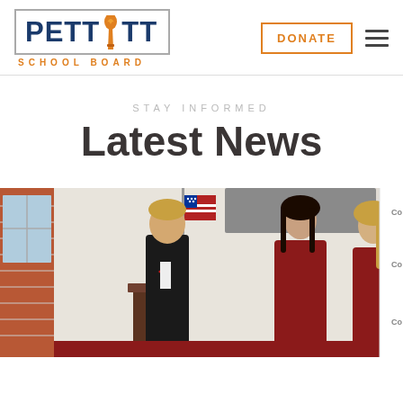[Figure (logo): Pettitt School Board logo — navy blue bold text PETTITT with orange torch icon between the two Ts, surrounded by a grey border box, with SCHOOL BOARD in orange spaced caps below]
DONATE
STAY INFORMED
Latest News
[Figure (photo): Photo of three young people (a boy in a black suit with red bow tie at a podium and two girls in red tops) standing in a school meeting room with an American flag and brick wall in background]